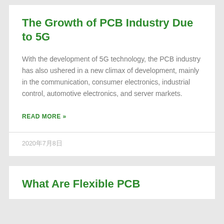The Growth of PCB Industry Due to 5G
With the development of 5G technology, the PCB industry has also ushered in a new climax of development, mainly in the communication, consumer electronics, industrial control, automotive electronics, and server markets.
READ MORE »
2020年7月8日
What Are Flexible PCB